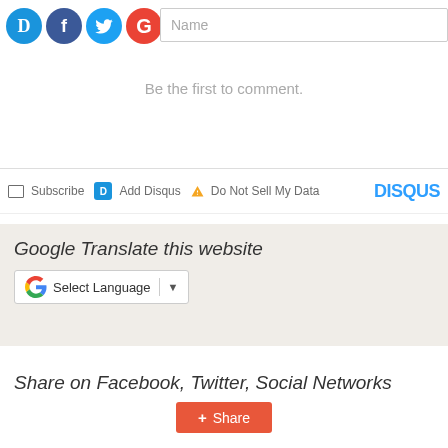[Figure (screenshot): Social login icons: Disqus (blue D), Facebook (blue f), Twitter (blue bird), Google (red G) circles, plus a Name text input field]
Be the first to comment.
Subscribe  Add Disqus  Do Not Sell My Data  DISQUS
Google Translate this website
[Figure (screenshot): Google Translate widget with G logo, Select Language text, divider, and dropdown arrow]
Share on Facebook, Twitter, Social Networks
[Figure (screenshot): Orange Share button with plus icon]